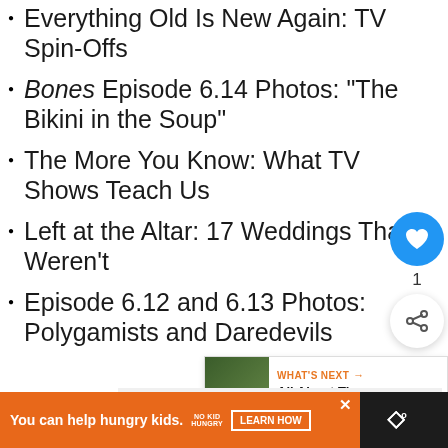Everything Old Is New Again: TV Spin-Offs
Bones Episode 6.14 Photos: “The Bikini in the Soup”
The More You Know: What TV Shows Teach Us
Left at the Altar: 17 Weddings That Weren’t
Episode 6.12 and 6.13 Photos: Polygamists and Daredevils
[Figure (screenshot): Social media overlay with like button (blue circle with heart icon), count of 1, and share button (white circle with share icon)]
[Figure (screenshot): What's Next card showing thumbnail image and text: All About The Latest Seas...]
[Figure (screenshot): Advertisement bar: dark background with orange ad panel reading You can help hungry kids. No Kid Hungry. LEARN HOW. MW logo on right.]